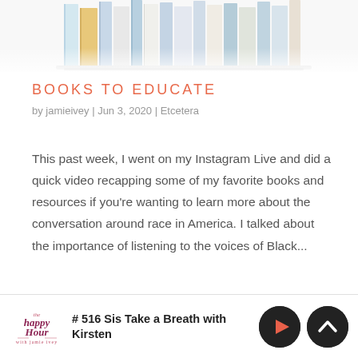[Figure (photo): Top portion of a row of books on a shelf, cropped — showing spines of various books in blues, whites, and neutral colors]
BOOKS TO EDUCATE
by jamieivey | Jun 3, 2020 | Etcetera
This past week, I went on my Instagram Live and did a quick video recapping some of my favorite books and resources if you're wanting to learn more about the conversation around race in America. I talked about the importance of listening to the voices of Black...
# 516 Sis Take a Breath with Kirsten